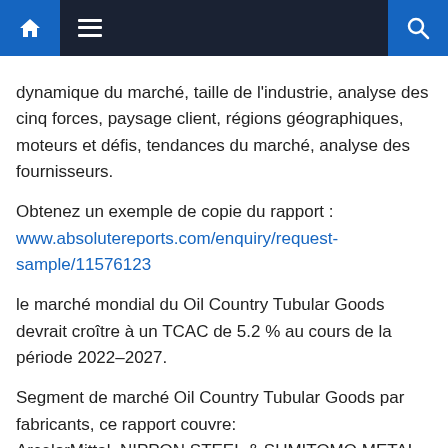Navigation bar with home, menu, and search icons
dynamique du marché, taille de l'industrie, analyse des cinq forces, paysage client, régions géographiques, moteurs et défis, tendances du marché, analyse des fournisseurs.
Obtenez un exemple de copie du rapport : www.absolutereports.com/enquiry/request-sample/11576123
le marché mondial du Oil Country Tubular Goods devrait croître à un TCAC de 5.2 % au cours de la période 2022–2027.
Segment de marché Oil Country Tubular Goods par fabricants, ce rapport couvre: ArcelorMittal, NIPPON STEEL & SUMITOMO METAL, Tenaris, TMK, United States Steel, and VALLOUREC.
Le rapport sur le marché Oil Country Tubular Goods présente également le paysage des fournisseurs et une analyse